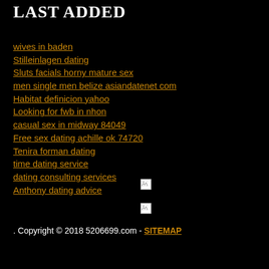LAST ADDED
wives in baden
Stilleinlagen dating
Sluts facials horny mature sex
men single men belize asiandatenet com
Habitat definicion yahoo
Looking for fwb in nhon
casual sex in midway 84049
Free sex dating achille ok 74720
Tenira forman dating
time dating service
dating consulting services
Anthony dating advice
[Figure (other): Broken image icon 1]
[Figure (other): Broken image icon 2]
. Copyright © 2018 5206699.com - SITEMAP